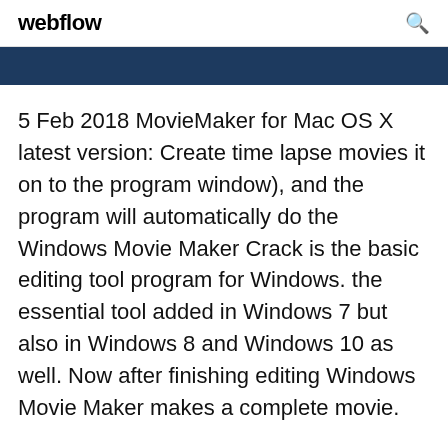webflow
5 Feb 2018 MovieMaker for Mac OS X latest version: Create time lapse movies it on to the program window), and the program will automatically do the Windows Movie Maker Crack is the basic editing tool program for Windows. the essential tool added in Windows 7 but also in Windows 8 and Windows 10 as well. Now after finishing editing Windows Movie Maker makes a complete movie.